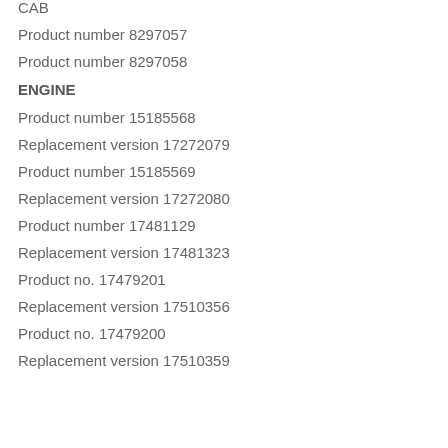CAB
Product number 8297057
Product number 8297058
ENGINE
Product number 15185568
Replacement version 17272079
Product number 15185569
Replacement version 17272080
Product number 17481129
Replacement version 17481323
Product no. 17479201
Replacement version 17510356
Product no. 17479200
Replacement version 17510359